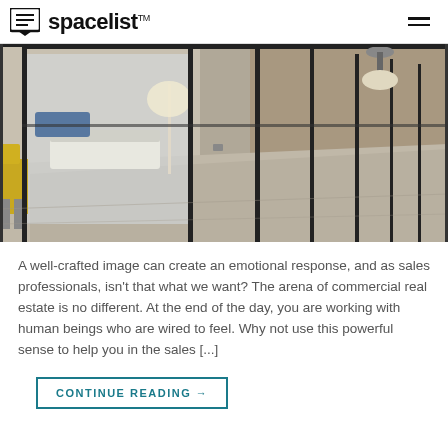spacelist™
[Figure (photo): Interior of a modern commercial office space with glass partition walls, a floor lamp, white sofa seating area, yellow chair, and a concrete corridor stretching to the right. Black metal framed glass panels divide the space. Pendant light visible in background.]
A well-crafted image can create an emotional response, and as sales professionals, isn't that what we want? The arena of commercial real estate is no different. At the end of the day, you are working with human beings who are wired to feel. Why not use this powerful sense to help you in the sales [...]
CONTINUE READING →